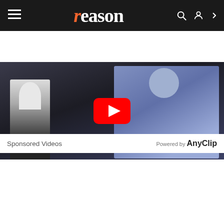[Figure (screenshot): Reason magazine website navigation bar with hamburger menu, orange-r 'reason' logo, search and account icons on dark background]
[Figure (screenshot): YouTube video embed showing two figures, one in white lab coat and one in blue, with YouTube play button overlay]
Sponsored Videos
Powered by AnyClip
[Figure (screenshot): AnyClip sponsored video showing protest scene with 'ONE JOB SHOULD BE ENOUGH' and 'AMERICAN!' signs, with error message overlay: 'The media could not be loaded, either because the server or network failed or because the format is not supported.' and an X close button]